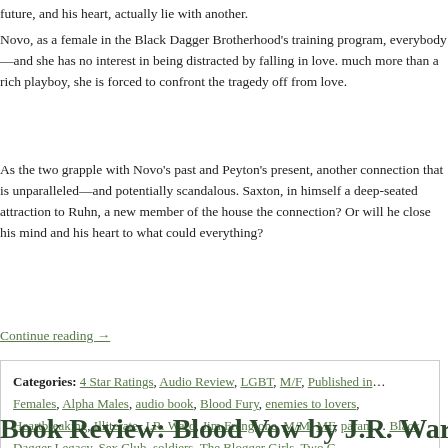future, and his heart, actually lie with another.
Novo, as a female in the Black Dagger Brotherhood's training program, everybody—and she has no interest in being distracted by falling in love. When she discovers that Peyton is much more than a rich playboy, she is forced to confront the tragedy that has left her cut off from love.
As the two grapple with Novo's past and Peyton's present, another couple discovers a connection that is unparalleled—and potentially scandalous. Saxton, blooded male of the aristocracy, finds in himself a deep-seated attraction to Ruhn, a new member of the household. Will Saxton accept the connection? Or will he close his mind and his heart to what could be the relationship that changes everything?
Continue reading →
Categories: 4 Star Ratings, Audio Review, LGBT, M/F, Published in Females, Alpha Males, audio book, Blood Fury, enemies to lovers, Heartbreaking, Illiterate, J.R. Ward, Jim Frangione, M/M, MF, paranormal, Black Dagger Legacy, Sex Club, soldiers, The Blogger Girls, Two C
Leave a comment
Book Review: Blood Vow by J.R. Ward